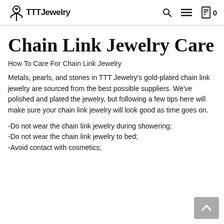TTTJewelry — navigation bar with search, menu, and cart icons
Chain Link Jewelry Care
How To Care For Chain Link Jewelry
Metals, pearls, and stones in TTT Jewelry's gold-plated chain link jewelry are sourced from the best possible suppliers. We've polished and plated the jewelry, but following a few tips here will make sure your chain link jewelry will look good as time goes on.
-Do not wear the chain link jewelry during showering;
-Do not wear the chain link jewelry to bed;
-Avoid contact with cosmetics;